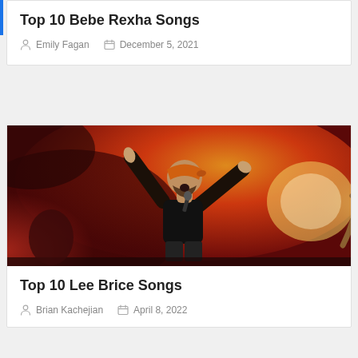Top 10 Bebe Rexha Songs
Emily Fagan   December 5, 2021
[Figure (photo): Concert performer with arms raised, wearing orange bandana and black t-shirt, on stage with red/orange smoky lighting backdrop]
Top 10 Lee Brice Songs
Brian Kachejian   April 8, 2022